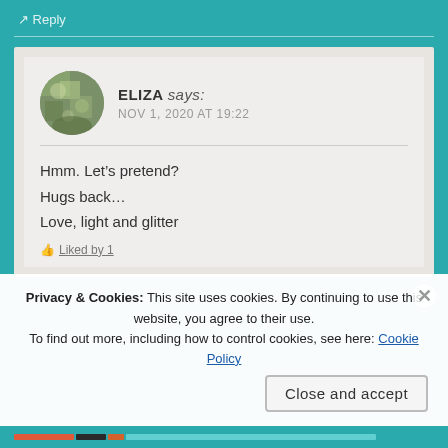↗ Reply
ELIZA says:
NOV 1, 2020 AT 19:22
Hmm. Let’s pretend?
Hugs back…
Love, light and glitter
Privacy & Cookies: This site uses cookies. By continuing to use this website, you agree to their use.
To find out more, including how to control cookies, see here: Cookie Policy
Close and accept